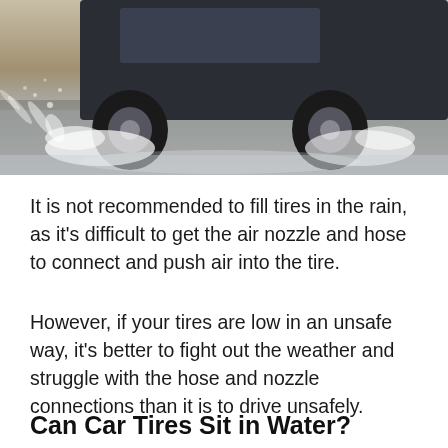[Figure (photo): A car driving through heavy rain, splashing water from its tires on a wet road. The image shows the lower portion of a dark vehicle with water spraying dramatically from the tires.]
It is not recommended to fill tires in the rain, as it's difficult to get the air nozzle and hose to connect and push air into the tire.
However, if your tires are low in an unsafe way, it's better to fight out the weather and struggle with the hose and nozzle connections than it is to drive unsafely.
Can Car Tires Sit in Water?